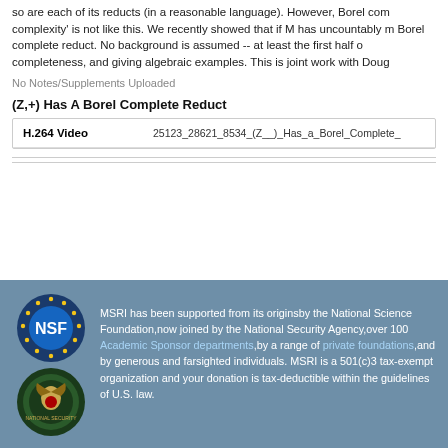so are each of its reducts (in a reasonable language). However, Borel com complexity' is not like this. We recently showed that if M has uncountably m Borel complete reduct. No background is assumed -- at least the first half o completeness, and giving algebraic examples. This is joint work with Doug
No Notes/Supplements Uploaded
(Z,+) Has A Borel Complete Reduct
| H.264 Video |  |
| --- | --- |
| H.264 Video | 25123_28621_8534_(Z__)_Has_a_Borel_Complete_ |
MSRI has been supported from its originsby the National Science Foundation,now joined by the National Security Agency,over 100 Academic Sponsor departments,by a range of private foundations,and by generous and farsighted individuals. MSRI is a 501(c)3 tax-exempt organization and your donation is tax-deductible within the guidelines of U.S. law.